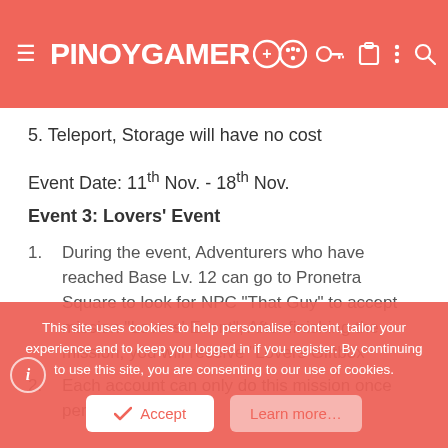PINOYGAMER
5. Teleport, Storage will have no cost
Event Date: 11th Nov. - 18th Nov.
Event 3: Lovers' Event
1. During the event, Adventurers who have reached Base Lv. 12 can go to Pronetra Square to look for NPC "That Guy" to accept mission "Lovers' Event", After finishing the mission, you will receive "Lovers Giftbox"
2. Each account can only do this mission once per
This site uses cookies to help personalise content, tailor your experience and to keep you logged in if you register. By continuing to use this site, you are consenting to our use of cookies.